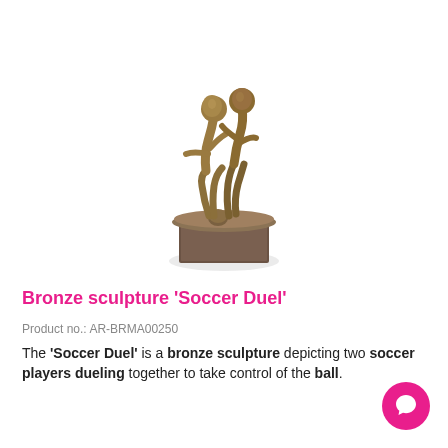[Figure (photo): Bronze sculpture of two soccer players dueling for a ball, mounted on a square dark stone base. The figures are depicted in dynamic motion, one player attempting to control the ball while the other challenges from behind. The sculpture has a dark bronze patina finish.]
Bronze sculpture 'Soccer Duel'
Product no.: AR-BRMA00250
The 'Soccer Duel' is a bronze sculpture depicting two soccer players dueling together to take control of the ball.